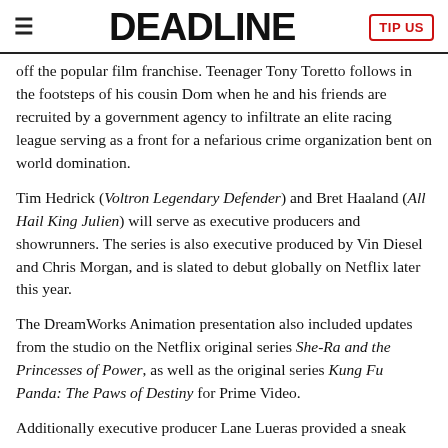≡  DEADLINE  TIP US
off the popular film franchise. Teenager Tony Toretto follows in the footsteps of his cousin Dom when he and his friends are recruited by a government agency to infiltrate an elite racing league serving as a front for a nefarious crime organization bent on world domination.
Tim Hedrick (Voltron Legendary Defender) and Bret Haaland (All Hail King Julien) will serve as executive producers and showrunners. The series is also executive produced by Vin Diesel and Chris Morgan, and is slated to debut globally on Netflix later this year.
The DreamWorks Animation presentation also included updates from the studio on the Netflix original series She-Ra and the Princesses of Power, as well as the original series Kung Fu Panda: The Paws of Destiny for Prime Video.
Additionally executive producer Lane Lueras provided a sneak